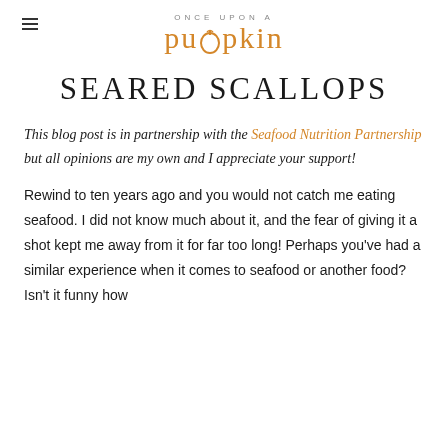ONCE UPON A pumpkin
SEARED SCALLOPS
This blog post is in partnership with the Seafood Nutrition Partnership but all opinions are my own and I appreciate your support!
Rewind to ten years ago and you would not catch me eating seafood. I did not know much about it, and the fear of giving it a shot kept me away from it for far too long! Perhaps you've had a similar experience when it comes to seafood or another food? Isn't it funny how